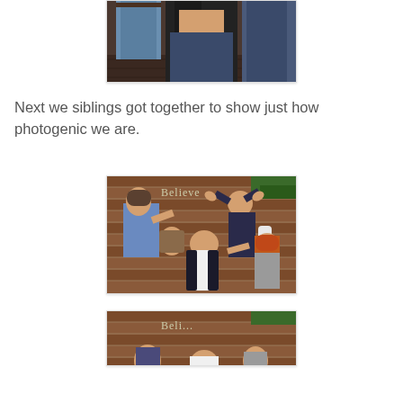[Figure (photo): Partial photo of people standing, showing lower torsos and legs, in front of a brick wall background. One person's midriff is visible.]
Next we siblings got together to show just how photogenic we are.
[Figure (photo): Group photo of five siblings making silly faces and poses in front of a brick wall with a 'Believe' decoration. They are laughing, tilting heads, raising arms in a humorous pose.]
[Figure (photo): Partial view of another photo of the siblings in front of a brick wall with a 'Believe' decoration, cropped at the bottom of the page.]